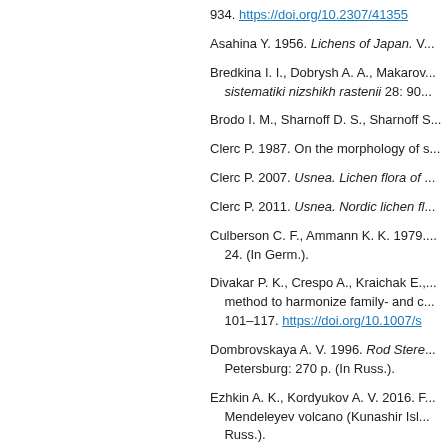934. https://doi.org/10.2307/41355...
Asahina Y. 1956. Lichens of Japan. V...
Bredkina I. I., Dobrysh A. A., Makarov... sistematiki nizshikh rastenii 28: 90...
Brodo I. M., Sharnoff D. S., Sharnoff S...
Clerc P. 1987. On the morphology of s...
Clerc P. 2007. Usnea. Lichen flora of ...
Clerc P. 2011. Usnea. Nordic lichen fl...
Culberson C. F., Ammann K. K. 1979. ... 24. (In Germ.).
Divakar P. K., Crespo A., Kraichak E.,... method to harmonize family- and c... 101–117. https://doi.org/10.1007/s...
Dombrovskaya A. V. 1996. Rod Stere... Petersburg: 270 p. (In Russ.).
Ezhkin A. K., Kordyukov A. V. 2016. F... Mendeleyev volcano (Kunashir Isl... Russ.).
Golubkova N. S. 1996. Usnea. Opred... 62–107. (In Russ.).